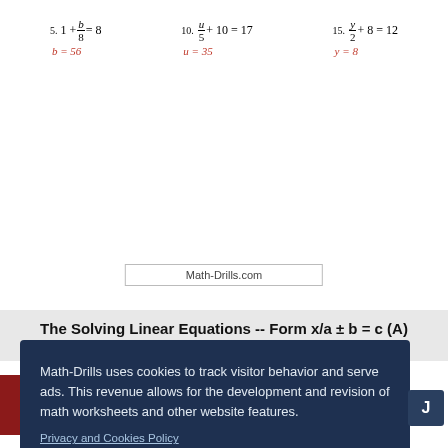Math-Drills.com
The Solving Linear Equations -- Form x/a ± b = c (A) Math Worksheet Page 2
Math-Drills uses cookies to track visitor behavior and serve ads. This revenue allows for the development and revision of math worksheets and other website features.
Privacy and Cookies Policy
Decline
Allow All Cookies